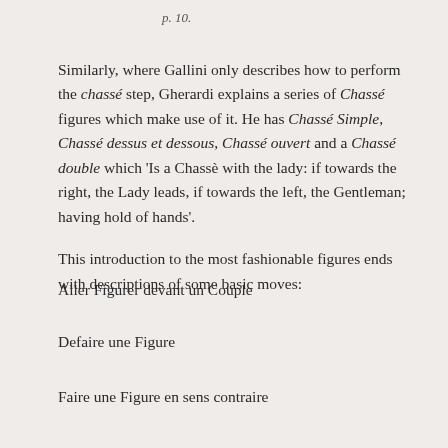p. 10.
Similarly, where Gallini only describes how to perform the chassé step, Gherardi explains a series of Chassé figures which make use of it. He has Chassé Simple, Chassé dessus et dessous, Chassé ouvert and a Chassé double which 'Is a Chassè with the lady: if towards the right, the Lady leads, if towards the left, the Gentleman; having hold of hands'.
This introduction to the most fashionable figures ends with descriptions of some basic moves:
Aller Figurer devant un Couple
Defaire une Figure
Faire une Figure en sens contraire